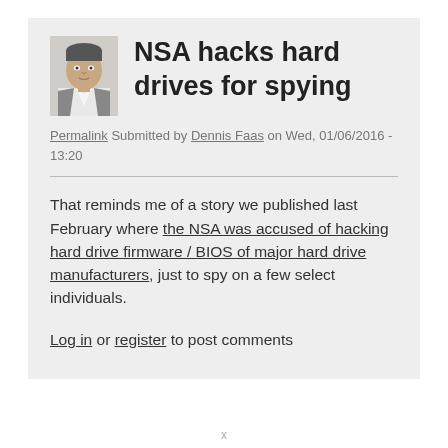[Figure (photo): Small headshot photo of a man in a white shirt, shown from shoulders up]
NSA hacks hard drives for spying
Permalink Submitted by Dennis Faas on Wed, 01/06/2016 - 13:20
That reminds me of a story we published last February where the NSA was accused of hacking hard drive firmware / BIOS of major hard drive manufacturers, just to spy on a few select individuals.
Log in or register to post comments